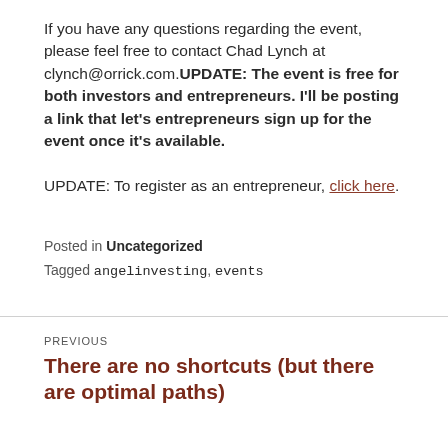If you have any questions regarding the event, please feel free to contact Chad Lynch at clynch@orrick.com. UPDATE: The event is free for both investors and entrepreneurs. I'll be posting a link that let's entrepreneurs sign up for the event once it's available.
UPDATE: To register as an entrepreneur, click here.
Posted in Uncategorized
Tagged angelinvesting, events
PREVIOUS
There are no shortcuts (but there are optimal paths)